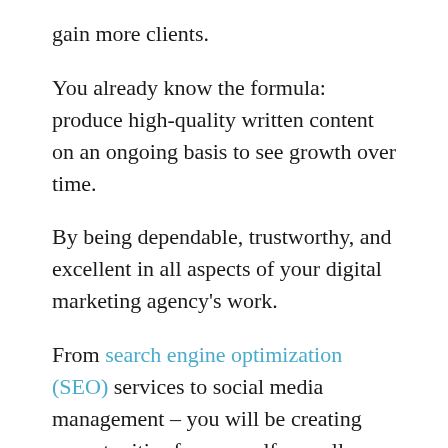gain more clients.
You already know the formula: produce high-quality written content on an ongoing basis to see growth over time.
By being dependable, trustworthy, and excellent in all aspects of your digital marketing agency’s work.
From search engine optimization (SEO) services to social media management – you will be creating opportunities for yourself as well as your clientele!
The benefits of outsourcing and content